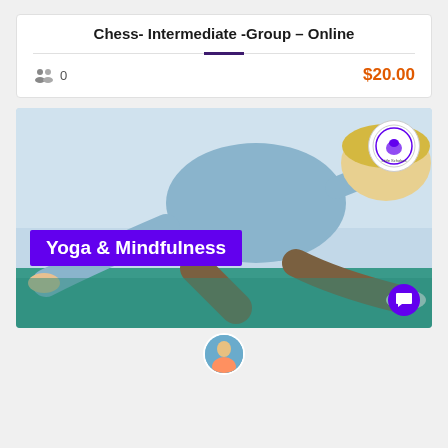Chess- Intermediate -Group – Online
0   $20.00
[Figure (photo): Child doing yoga stretch on a blue mat, wearing blue shirt and brown shorts. Purple banner overlay reads 'Yoga & Mindfulness'. Small circular logo in top right corner. Chat button in bottom right.]